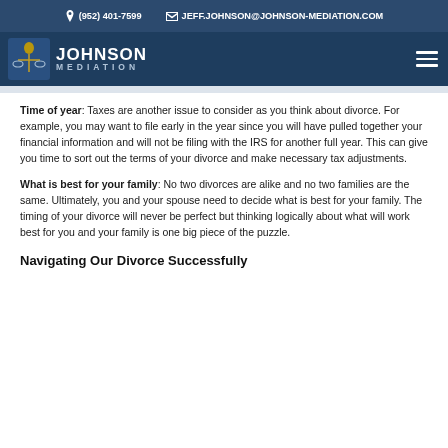(952) 401-7599   JEFF.JOHNSON@JOHNSON-MEDIATION.COM
[Figure (logo): Johnson Mediation logo with stylized bird/scale icon and text JOHNSON MEDIATION]
Time of year: Taxes are another issue to consider as you think about divorce. For example, you may want to file early in the year since you will have pulled together your financial information and will not be filing with the IRS for another full year. This can give you time to sort out the terms of your divorce and make necessary tax adjustments.
What is best for your family: No two divorces are alike and no two families are the same. Ultimately, you and your spouse need to decide what is best for your family. The timing of your divorce will never be perfect but thinking logically about what will work best for you and your family is one big piece of the puzzle.
Navigating Our Divorce Successfully